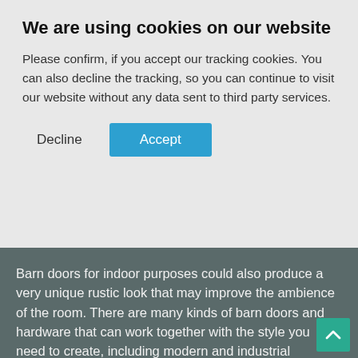Barn door hardware, together with the barn doors, doesn't have to be functional. It may say, as a decorating machine, making the area there is often it is strikingly popular. Continue the about two designs by their own space moving feel, more. Rather than needing more space to open sliding barn, barn doors can slide back and forth, eliminating the need for a sizable space.
We are using cookies on our website
Please confirm, if you accept our tracking cookies. You can also decline the tracking, so you can continue to visit our website without any data sent to third party services.
Decline  Accept
Barn doors for indoor purposes could also produce a very unique rustic look that may improve the ambience of the room. There are many kinds of barn doors and hardware that can work together with the style you need to create, including modern and industrial hardware. When contemplating barn doors for your upcoming project, take into account the following hardware and doors, along with their purposes, to get the best products. All hardware packages come with mounting instructions, so you can get